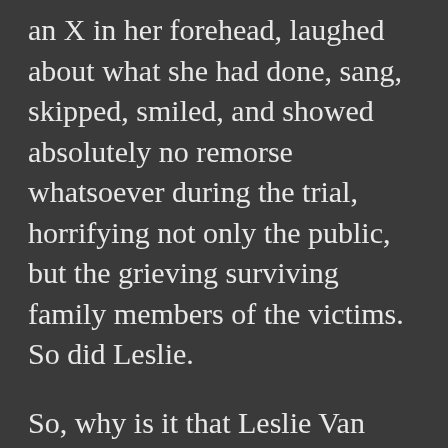an X in her forehead, laughed about what she had done, sang, skipped, smiled, and showed absolutely no remorse whatsoever during the trial, horrifying not only the public, but the grieving surviving family members of the victims. So did Leslie.
So, why is it that Leslie Van Houten gets to participate in such human terror & horror, yet, everyone roots for her to be released, because of the LAW? I never saw the rooting for